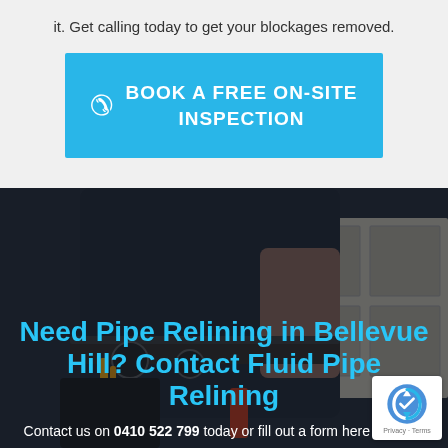it. Get calling today to get your blockages removed.
BOOK A FREE ON-SITE INSPECTION
[Figure (photo): Plumber or tradespeople worker wearing a utility belt with tools, dark background with kitchen cabinetry visible in background]
Need Pipe Relining in Bellevue Hill? Contact Fluid Pipe Relining
Contact us on 0410 522 799 today or fill out a form here and one